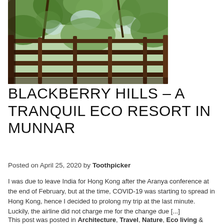[Figure (photo): A wooden deck/balcony railing surrounded by lush green forest trees viewed from inside or below, with dappled light through the canopy. Dark wooden railings cross horizontally. Natural eco-resort setting.]
BLACKBERRY HILLS - A TRANQUIL ECO RESORT IN MUNNAR
Posted on April 25, 2020 by Toothpicker
I was due to leave India for Hong Kong after the Aranya conference at the end of February, but at the time, COVID-19 was starting to spread in Hong Kong, hence I decided to prolong my trip at the last minute. Luckily, the airline did not charge me for the change due [...]
This post was posted in Architecture, Travel, Nature, Eco living &